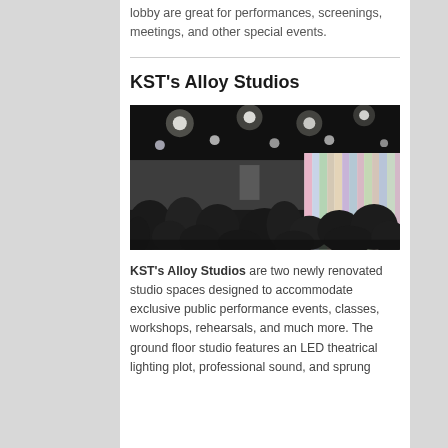lobby are great for performances, screenings, meetings, and other special events.
KST's Alloy Studios
[Figure (photo): Wide-angle photo of an audience seated in a darkened studio space watching a presenter near a large colorful projected display on the right wall. The ceiling has recessed spotlights. The space has a concrete/industrial aesthetic.]
KST's Alloy Studios are two newly renovated studio spaces designed to accommodate exclusive public performance events, classes, workshops, rehearsals, and much more. The ground floor studio features an LED theatrical lighting plot, professional sound, and sprung